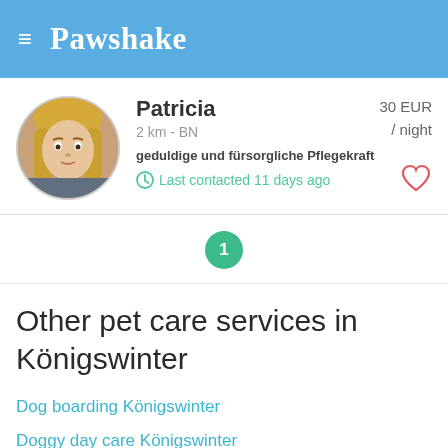Pawshake
[Figure (photo): Profile photo of Patricia, a blonde woman]
Patricia
2 km - BN
geduldige und fürsorgliche Pflegekraft
Last contacted 11 days ago
30 EUR / night
1
Other pet care services in Königswinter
Dog boarding Königswinter
Doggy day care Königswinter